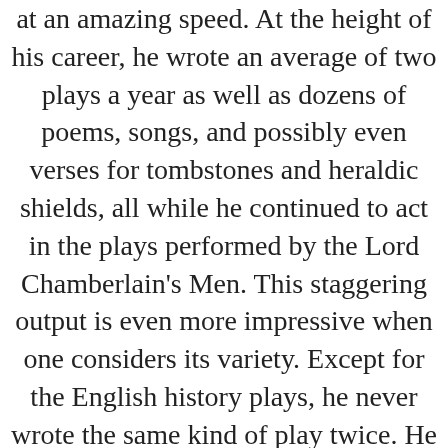at an amazing speed. At the height of his career, he wrote an average of two plays a year as well as dozens of poems, songs, and possibly even verses for tombstones and heraldic shields, all while he continued to act in the plays performed by the Lord Chamberlain's Men. This staggering output is even more impressive when one considers its variety. Except for the English history plays, he never wrote the same kind of play twice. He seems to have had a good deal of fun in trying his hand at every kind of play. Shakespeare wrote 154 sonnets, all published on